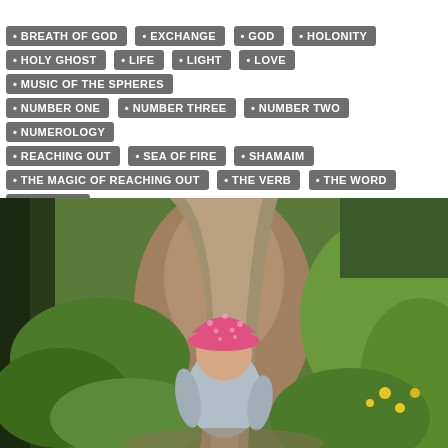BREATH OF GOD
EXCHANGE
GOD
HOLONITY
HOLY GHOST
LIFE
LIGHT
LOVE
MUSIC OF THE SPHERES
NUMBER ONE
NUMBER THREE
NUMBER TWO
NUMEROLOGY
REACHING OUT
SEA OF FIRE
SHAMAIM
THE MAGIC OF REACHING OUT
THE VERB
THE WORD
UNIVERSE
[Figure (photo): A young child seen from behind, wearing a pink polka-dot hat and light blue top, walking along a dirt path through a green garden or forest area with dandelions and lush vegetation on both sides.]